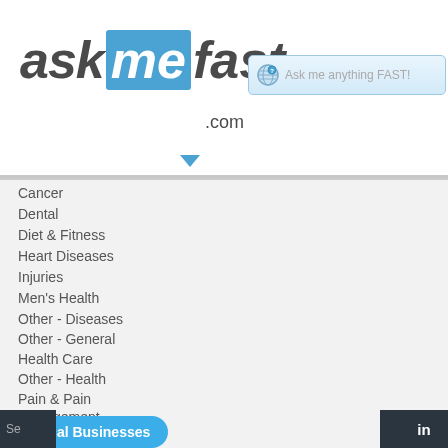[Figure (screenshot): Screenshot of askmefast.com website showing logo, search bar, left navigation with health categories and Home & Garden section, and a Q&A answer panel with Anonymous user, voting buttons, social sharing buttons, and answer text about printer ink.]
Cancer
Dental
Diet & Fitness
Heart Diseases
Injuries
Men's Health
Other - Diseases
Other - General
Health Care
Other - Health
Pain & Pain Management
Respiratory Diseases
Women's Health
Home & Garden
Decorating & Remodeling
Do It Yourself (DIY)
Other - Home & Garden
Local Businesses
Anonymous
The particular ink that you w exact configuration i.e. the m printer. But make sure that y original canon ink for you c duplicate ink could spoil yo
source: What ink do i need for Was this answer helpful? Yes